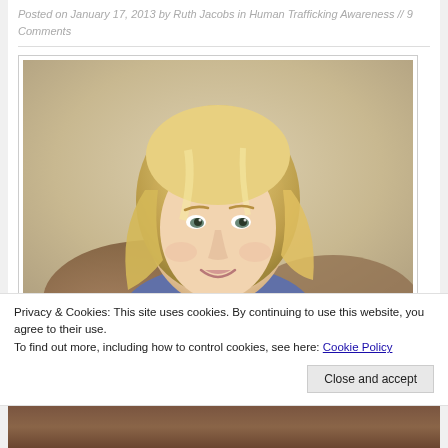Posted on January 17, 2013 by Ruth Jacobs in Human Trafficking Awareness // 9 Comments
[Figure (photo): Portrait photo of a blonde woman smiling, wearing a grey knit sweater, with a warm beige background]
Privacy & Cookies: This site uses cookies. By continuing to use this website, you agree to their use.
To find out more, including how to control cookies, see here: Cookie Policy
Close and accept